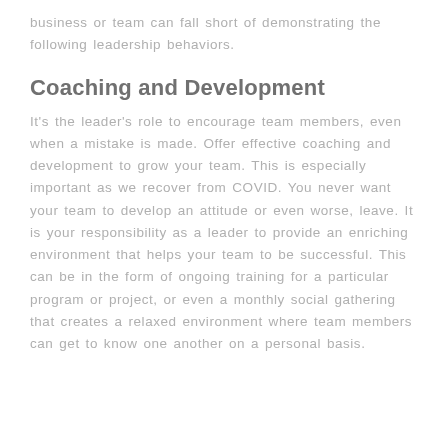business or team can fall short of demonstrating the following leadership behaviors.
Coaching and Development
It's the leader's role to encourage team members, even when a mistake is made. Offer effective coaching and development to grow your team. This is especially important as we recover from COVID. You never want your team to develop an attitude or even worse, leave. It is your responsibility as a leader to provide an enriching environment that helps your team to be successful. This can be in the form of ongoing training for a particular program or project, or even a monthly social gathering that creates a relaxed environment where team members can get to know one another on a personal basis.